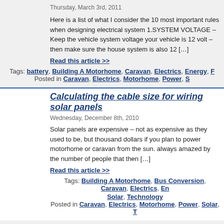Thursday, March 3rd, 2011
Here is a list of what I consider the 10 most important rules when designing electrical system 1.SYSTEM VOLTAGE – Keep the vehicle system voltage your vehicle is 12 volt – then make sure the house system is also 12 […]
Read this article >>
Tags: battery, Building A Motorhome, Caravan, Electrics, Energy, F
Posted in Caravan, Electrics, Motorhome, Power, S
Calculating the cable size for wiring solar panels
Wednesday, December 8th, 2010
Solar panels are expensive – not as expensive as they used to be, but thousand dollars if you plan to power motorhome or caravan from the sun. always amazed by the number of people that then […]
Read this article >>
Tags: Building A Motorhome, Bus Conversion, Caravan, Electrics, En Solar, Technology
Posted in Caravan, Electrics, Motorhome, Power, Solar, T
Wiring a motorhome – 12 volts or 24 volts?